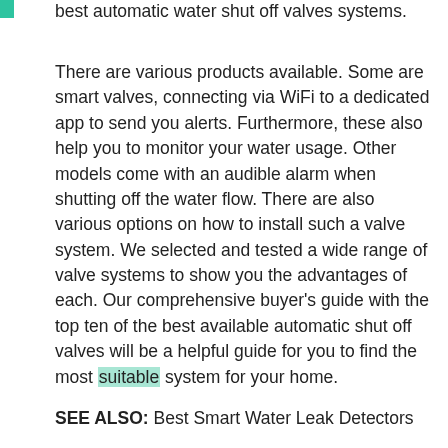best automatic water shut off valves systems.
There are various products available. Some are smart valves, connecting via WiFi to a dedicated app to send you alerts. Furthermore, these also help you to monitor your water usage. Other models come with an audible alarm when shutting off the water flow. There are also various options on how to install such a valve system. We selected and tested a wide range of valve systems to show you the advantages of each. Our comprehensive buyer's guide with the top ten of the best available automatic shut off valves will be a helpful guide for you to find the most suitable system for your home.
SEE ALSO: Best Smart Water Leak Detectors